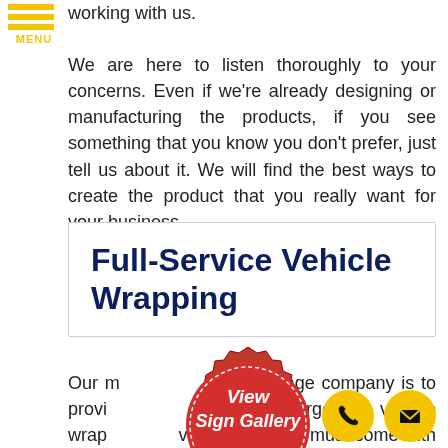MENU
working with us.

We are here to listen thoroughly to your concerns. Even if we're already designing or manufacturing the products, if you see something that you know you don't prefer, just tell us about it. We will find the best ways to create the product that you really want for your business.
Full-Service Vehicle Wrapping
Our m[...]top signage company is to provi[...]grade Georgetown vehicle wrap[...]ve services that must come with them.
[Figure (illustration): Red seal badge with 'View Sign Gallery CLICK HERE' text and gold ribbon banner]